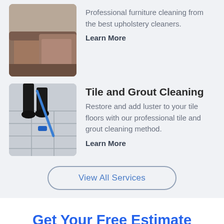[Figure (photo): Photo of a brown leather couch/sofa armrest]
Professional furniture cleaning from the best upholstery cleaners.
Learn More
[Figure (photo): Photo of a person using a blue cleaning tool on tile floor grout]
Tile and Grout Cleaning
Restore and add luster to your tile floors with our professional tile and grout cleaning method.
Learn More
View All Services
Get Your Free Estimate
Name